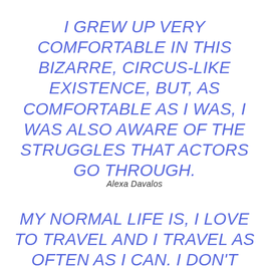I GREW UP VERY COMFORTABLE IN THIS BIZARRE, CIRCUS-LIKE EXISTENCE, BUT, AS COMFORTABLE AS I WAS, I WAS ALSO AWARE OF THE STRUGGLES THAT ACTORS GO THROUGH.
Alexa Davalos
MY NORMAL LIFE IS, I LOVE TO TRAVEL AND I TRAVEL AS OFTEN AS I CAN. I DON'T STAY IN ONE PLACE TOO LONG. BUT I'M AN AVID READER; I GUESS YOU COULD SAY I'M A BIT OF A